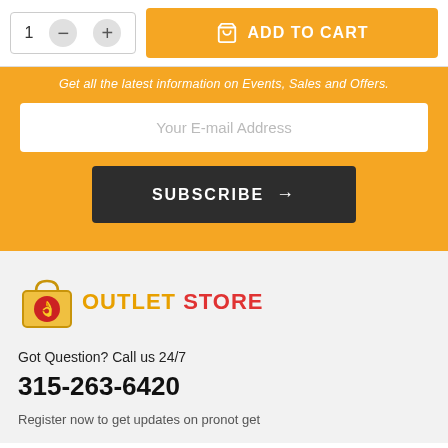[Figure (screenshot): Add to cart UI with quantity selector showing '1' and minus/plus buttons, and an orange 'ADD TO CART' button with shopping bag icon]
Get all the latest information on Events, Sales and Offers.
[Figure (screenshot): Email input field with placeholder text 'Your E-mail Address' on orange background]
[Figure (screenshot): Dark grey SUBSCRIBE button with arrow]
[Figure (logo): Outlet Store logo with shopping bag icon containing a hand gesture, 'OUTLET' in orange and 'STORE' in red]
Got Question? Call us 24/7
315-263-6420
Register now to get updates on pronot get